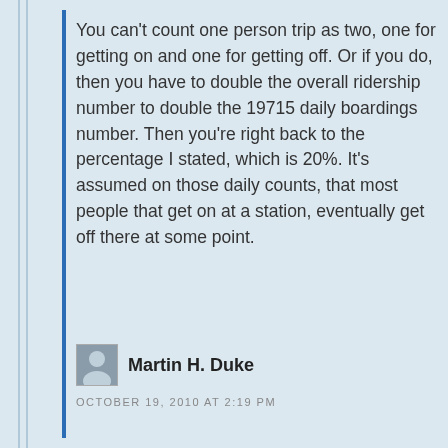You can't count one person trip as two, one for getting on and one for getting off. Or if you do, then you have to double the overall ridership number to double the 19715 daily boardings number. Then you're right back to the percentage I stated, which is 20%. It's assumed on those daily counts, that most people that get on at a station, eventually get off there at some point.
Martin H. Duke
OCTOBER 19, 2010 AT 2:19 PM